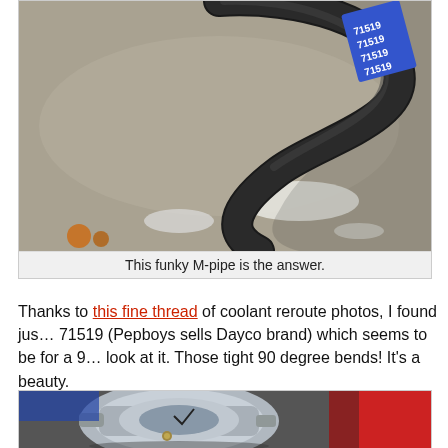[Figure (photo): Photo of a black S-shaped or M-shaped rubber coolant hose (part number 71519) with a blue label, lying on a concrete surface with white residue marks. Used as a coolant reroute pipe.]
This funky M-pipe is the answer.
Thanks to this fine thread of coolant reroute photos, I found just the right hose. Part number 71519 (Pepboys sells Dayco brand) which seems to be for a 9... look at it. Those tight 90 degree bends! It's a beauty.
[Figure (photo): Photo of a silver/aluminum automotive component (throttle body or coolant fitting) with hose connections, against a background with red and other colored components visible.]